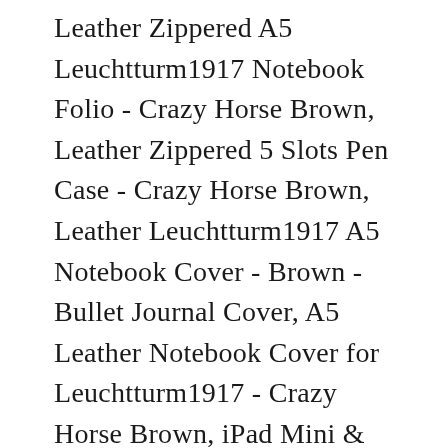Leather Zippered A5 Leuchtturm1917 Notebook Folio - Crazy Horse Brown, Leather Zippered 5 Slots Pen Case - Crazy Horse Brown, Leather Leuchtturm1917 A5 Notebook Cover - Brown - Bullet Journal Cover, A5 Leather Notebook Cover for Leuchtturm1917 - Crazy Horse Brown, iPad Mini & Large Moleskine Cover - Brown, Leather Zippered A5 Leuchtturm1917 Notebook Folio - Crazy Horse Forest Green, Leather Zippered A5 Leuchtturm1917 Notebook Folio - Crazy Horse Navy Blue, iPad Mini & Large Moleskine Cover - Crazy Horse Brown, Leather Zippered A5 Leuchtturm1917 Notebook Folio - Undyed Leather, Leather Leuchtturm1917 A5 Notebook Cover - Crazy